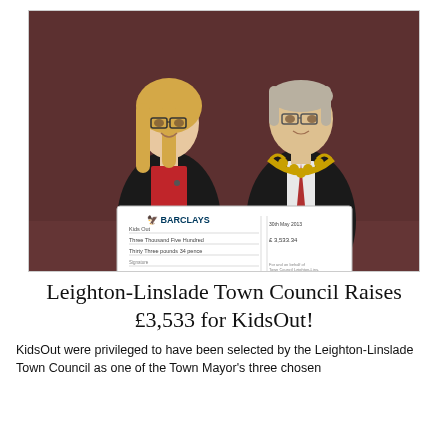[Figure (photo): Two people standing side by side holding a large Barclays cheque made out to KidsOut for Three Thousand Five Hundred Thirty-Three pounds 34p (£3,533.34). The woman on the left has blonde hair and glasses, wearing a black jacket over a red dress. The man on the right is older with grey hair and glasses, wearing a black suit with a mayoral chain of office and a red tie. The background is dark brown.]
Leighton-Linslade Town Council Raises £3,533 for KidsOut!
KidsOut were privileged to have been selected by the Leighton-Linslade Town Council as one of the Town Mayor's three chosen